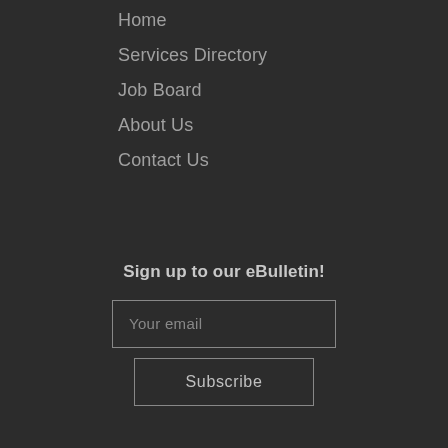Home
Services Directory
Job Board
About Us
Contact Us
Sign up to our eBulletin!
Your email
Subscribe